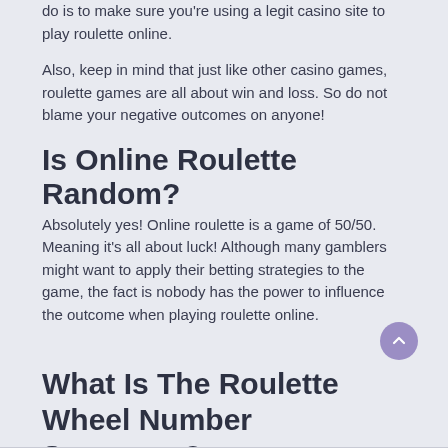do is to make sure you're using a legit casino site to play roulette online.
Also, keep in mind that just like other casino games, roulette games are all about win and loss. So do not blame your negative outcomes on anyone!
Is Online Roulette Random?
Absolutely yes! Online roulette is a game of 50/50. Meaning it's all about luck! Although many gamblers might want to apply their betting strategies to the game, the fact is nobody has the power to influence the outcome when playing roulette online.
What Is The Roulette Wheel Number Sequence?